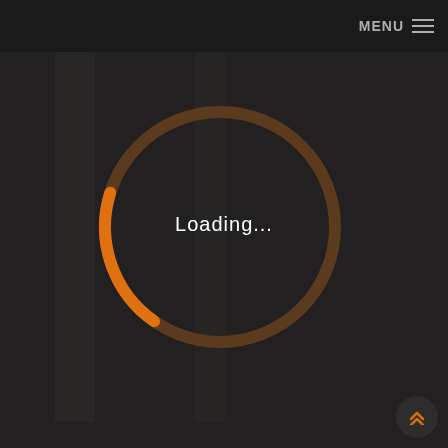MENU ≡
[Figure (other): Circular loading spinner with dark brown background ring and bright orange arc at the bottom, showing approximately 20% progress. The spinner is centered on a dark gray background.]
Loading...